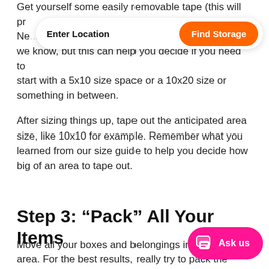Get yourself some easily removable tape (this will pr... Ne... we know, but this can help you decide if you need to start with a 5x10 size space or a 10x20 size or something in between.
After sizing things up, tape out the anticipated area size, like 10x10 for example. Remember what you learned from our size guide to help you decide how big of an area to tape out.
Step 3: “Pack” All Your Items
Move all your boxes and belongings into the taped area. For the best results, really try to pack the space as if it was an actual storage unit. For large, heavy items, you can leave an empty space or u... lighter but of similar size to avoid moving...